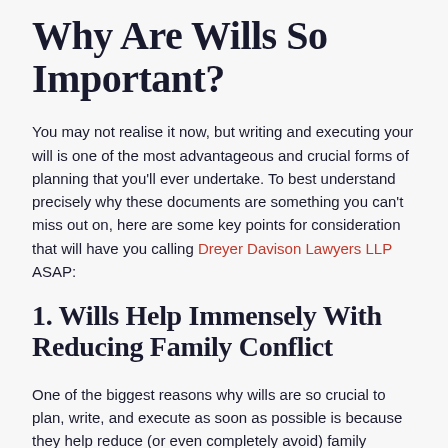Why Are Wills So Important?
You may not realise it now, but writing and executing your will is one of the most advantageous and crucial forms of planning that you'll ever undertake. To best understand precisely why these documents are something you can't miss out on, here are some key points for consideration that will have you calling Dreyer Davison Lawyers LLP ASAP:
1. Wills Help Immensely With Reducing Family Conflict
One of the biggest reasons why wills are so crucial to plan, write, and execute as soon as possible is because they help reduce (or even completely avoid) family conflict.